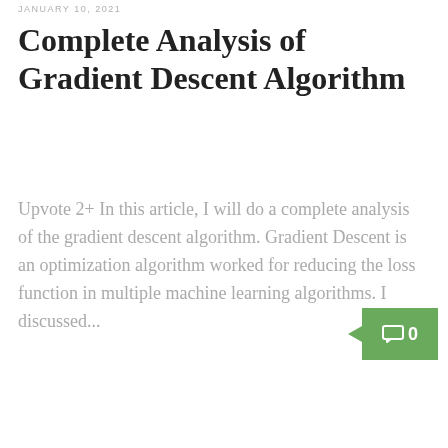JANUARY 10, 2021
Complete Analysis of Gradient Descent Algorithm
Upvote 2+ In this article, I will do a complete analysis of the gradient descent algorithm. Gradient Descent is an optimization algorithm worked for reducing the loss function in multiple machine learning algorithms. I discussed...
[Figure (other): Green comment badge with speech bubble icon and count 0]